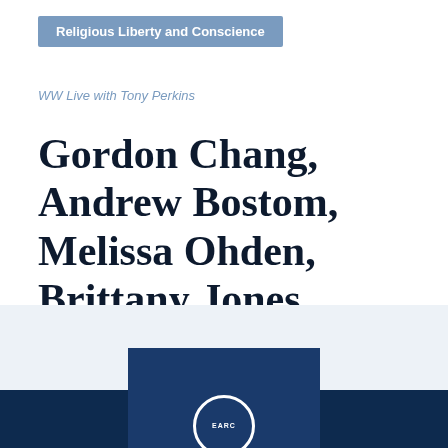Religious Liberty and Conscience
WW Live with Tony Perkins
Gordon Chang, Andrew Bostom, Melissa Ohden, Brittany Jones
[Figure (logo): Circular logo partially visible at bottom center with dark navy background]